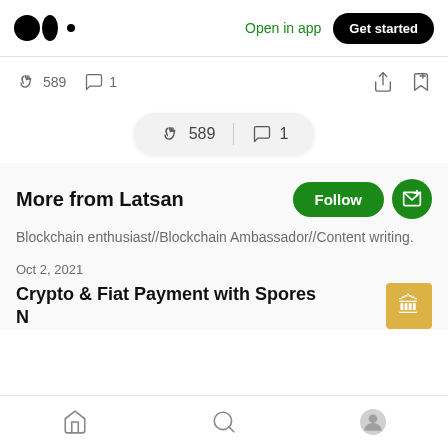Medium logo | Open in app | Get started
👏 589   💬 1
[Figure (other): Floating pill with clap count 589 and comment count 1]
More from Latsan
Blockchain enthusiast//Blockchain Ambassador//Content writing.
Oct 2, 2021
Crypto & Fiat Payment with Spores Network
Home | Search | Profile